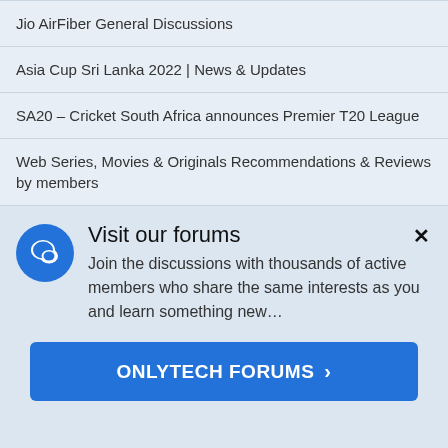Jio AirFiber General Discussions
Asia Cup Sri Lanka 2022 | News & Updates
SA20 – Cricket South Africa announces Premier T20 League
Web Series, Movies & Originals Recommendations & Reviews by members
[Figure (infographic): Visit our forums promotional card with blue speech bubble icon, title 'Visit our forums', description text, close button (x), and a blue 'ONLYTECH FORUMS >' call-to-action button.]